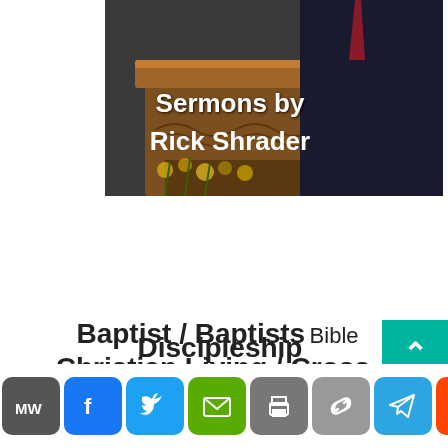[Figure (photo): A man in a dark suit standing at a wooden pulpit/lectern with yellow flowers. White text overlay reads 'Sermons by Rick Shrader'.]
Baptist / Baptists  Bible
Christian Living / Cross-
Discipleship
[Figure (infographic): Social sharing bar with icons: MW (MeWe), Facebook, Twitter, Email, Print, Link, Telegram, Reddit, More (+)]